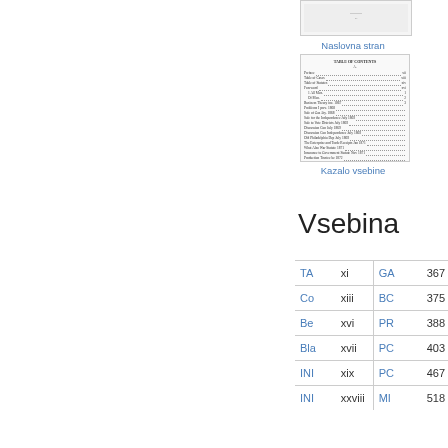[Figure (screenshot): Thumbnail of a book cover page]
Naslovna stran
[Figure (screenshot): Thumbnail of a table of contents page]
Kazalo vsebine
Vsebina
| TA | xi | GA | 367 |
| Co | xiii | BC | 375 |
| Be | xvi | PR | 388 |
| Bla | xvii | PC | 403 |
| INI | xix | PC | 467 |
| INI | xxviii | MI | 518 |